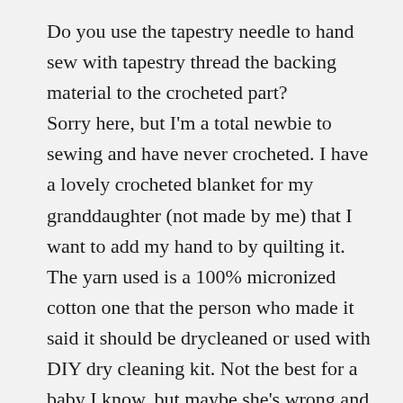Do you use the tapestry needle to hand sew with tapestry thread the backing material to the crocheted part? Sorry here, but I'm a total newbie to sewing and have never crocheted. I have a lovely crocheted blanket for my granddaughter (not made by me) that I want to add my hand to by quilting it. The yarn used is a 100% micronized cotton one that the person who made it said it should be drycleaned or used with DIY dry cleaning kit. Not the best for a baby I know, but maybe she's wrong and it could